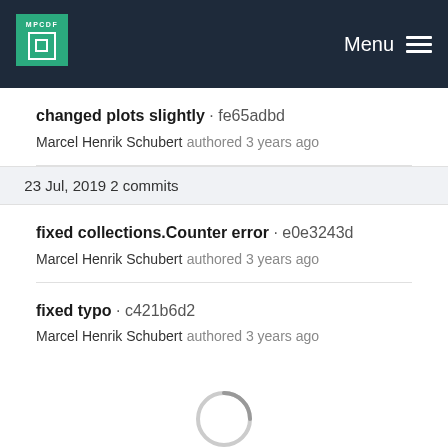MPCDF — Menu
changed plots slightly · fe65adbd
Marcel Henrik Schubert authored 3 years ago
23 Jul, 2019 2 commits
fixed collections.Counter error · e0e3243d
Marcel Henrik Schubert authored 3 years ago
fixed typo · c421b6d2
Marcel Henrik Schubert authored 3 years ago
[Figure (other): Loading spinner circle graphic]